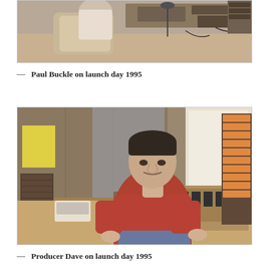[Figure (photo): Photo of Paul Buckle seated at a radio broadcasting desk, viewed from behind, with equipment and microphones visible, from launch day 1995]
— Paul Buckle on launch day 1995
[Figure (photo): Photo of Producer Dave seated at a radio broadcasting desk, facing the camera in a red sweatshirt, surrounded by mixing equipment and tape cartridges, from launch day 1995]
— Producer Dave on launch day 1995